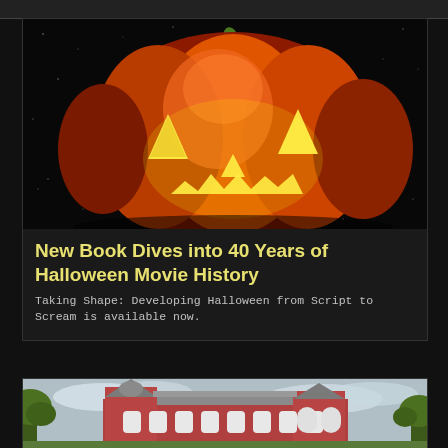[Figure (photo): Jack-o-lantern pumpkin glowing with yellow light against a dark starry black background. The carved pumpkin face has triangular eyes, a large jagged smile, and a triangular nose, all glowing bright yellow-green.]
New Book Dives into 40 Years of Halloween Movie History
Taking Shape: Developing Halloween from Script to Scream is available now.
[Figure (photo): A red brick Victorian-style building or mansion with multiple stories, dormer windows, arched windows, and a tower. Trees are visible on either side against a cloudy sky.]